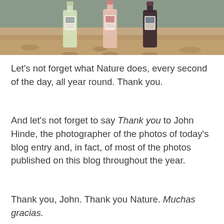[Figure (photo): Three wine bottles (white, rosé, red) standing on sandy/rocky ground, each with illustrated labels]
Let's not forget what Nature does, every second of the day, all year round. Thank you.
And let's not forget to say Thank you to John Hinde, the photographer of the photos of today's blog entry and, in fact, of most of the photos published on this blog throughout the year.
Thank you, John. Thank you Nature. Muchas gracias.